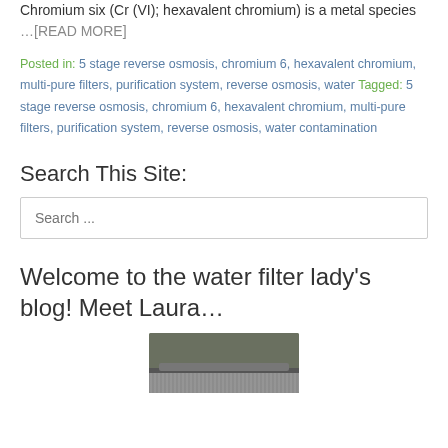Chromium six (Cr (VI); hexavalent chromium) is a metal species …[READ MORE]
Posted in: 5 stage reverse osmosis, chromium 6, hexavalent chromium, multi-pure filters, purification system, reverse osmosis, water Tagged: 5 stage reverse osmosis, chromium 6, hexavalent chromium, multi-pure filters, purification system, reverse osmosis, water contamination
Search This Site:
Search ...
Welcome to the water filter lady's blog! Meet Laura…
[Figure (photo): Photo of outdoor scene, partially visible at bottom of page]